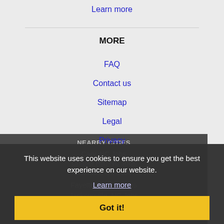Learn more
MORE
FAQ
Contact us
Sitemap
Legal
Privacy
NEARBY CITIES
Cary, NC Jobs
Chapel Hill, NC Jobs
Durham, NC Jobs
Fayetteville, NC Jobs
Jacksonville, NC Jobs
Raleigh, NC Jobs
Rocky Mount, NC Jobs
This website uses cookies to ensure you get the best experience on our website.
Learn more
Got it!